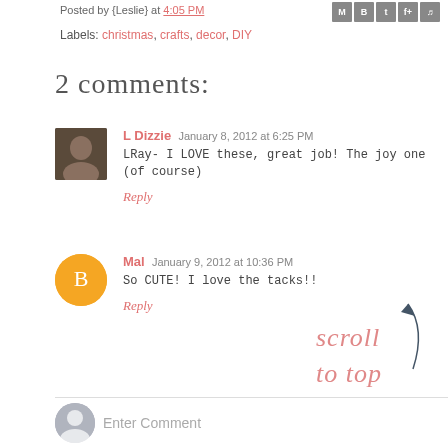Posted by {Leslie} at 4:05 PM
Labels: christmas, crafts, decor, DIY
2 comments:
L Dizzie January 8, 2012 at 6:25 PM
LRay- I LOVE these, great job! The joy one (of course)
Reply
Mal January 9, 2012 at 10:36 PM
So CUTE! I love the tacks!!
Reply
[Figure (illustration): Scroll to top handwritten text with arrow]
Enter Comment